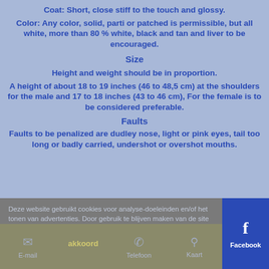Coat: Short, close stiff to the touch and glossy.
Color: Any color, solid, parti or patched is permissible, but all white, more than 80 % white, black and tan and liver to be encouraged.
Size
Height and weight should be in proportion.
A height of about 18 to 19 inches (46 to 48,5 cm) at the shoulders for the male and 17 to 18 inches (43 to 46 cm), For the female is to be considered preferable.
Faults
Faults to be penalized are dudley nose, light or pink eyes, tail too long or badly carried, undershot or overshot mouths.
Deze website gebruikt cookies voor analyse-doeleinden en/of het tonen van advertenties. Door gebruik te blijven maken van de site gaat u hiermee akkoord.
E-mail  Telefoon  Kaart
Facebook